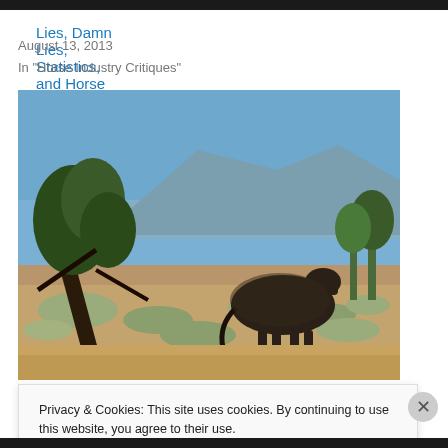Lies, Damn Lies, Statistics, and Horse Slaughter...
August 13, 2013
In "Horse Industry Critiques"
[Figure (photo): A dark horse standing in scrubby desert terrain with sagebrush and dry grasses, a leaning juniper tree to the left, and a blue-sky mountain ridge in the background.]
Privacy & Cookies: This site uses cookies. By continuing to use this website, you agree to their use.
To find out more, including how to control cookies, see here: Cookie Policy